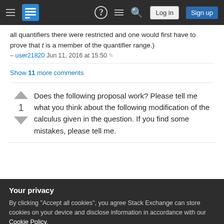Stack Exchange navigation bar with logo, Log in and Sign up buttons
all quantifiers there were restricted and one would first have to prove that t is a member of the quantifier range.)
– user21820 Jun 11, 2016 at 15:50
Show 11 more comments
Does the following proposal work? Please tell me what you think about the following modification of the calculus given in the question. If you find some mistakes, please tell me.
Your privacy
By clicking "Accept all cookies", you agree Stack Exchange can store cookies on your device and disclose information in accordance with our Cookie Policy.
Γ is a set of formulas each of whose free variables